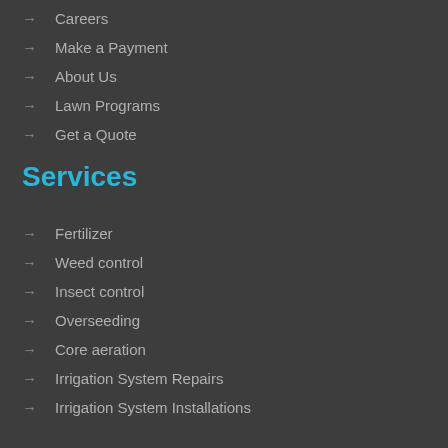→ Careers
→ Make a Payment
→ About Us
→ Lawn Programs
→ Get a Quote
Services
→ Fertilizer
→ Weed control
→ Insect control
→ Overseeding
→ Core aeration
→ Irrigation System Repairs
→ Irrigation System Installations